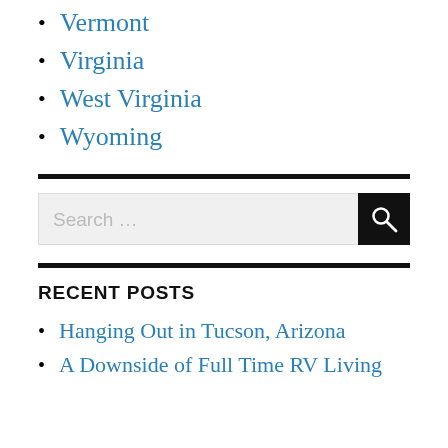Vermont
Virginia
West Virginia
Wyoming
[Figure (other): Search bar with text input field and search button icon]
RECENT POSTS
Hanging Out in Tucson, Arizona
A Downside of Full Time RV Living